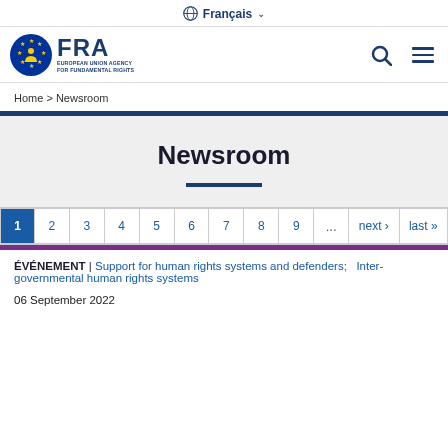🌐 Français ▾
[Figure (logo): FRA - European Union Agency for Fundamental Rights logo with EU flag icon]
Home > Newsroom
Newsroom
1 2 3 4 5 6 7 8 9 ... next › last »
ÉVÉNEMENT | Support for human rights systems and defenders; Inter-governmental human rights systems
06 September 2022